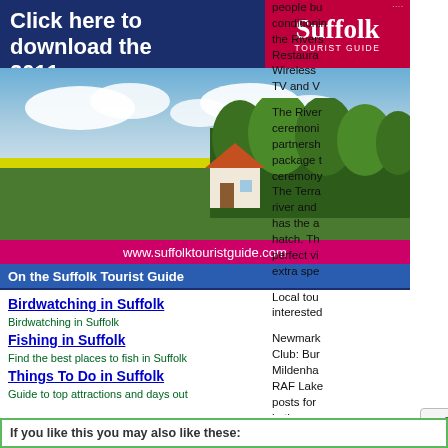[Figure (illustration): Advertisement for Suffolk Tourist Guide 2011 brochure download. Shows Suffolk Tourist Guide logo, landscape photo with house and field, URL www.suffolktouristguide.com, and links to Birdwatching, Fishing, and Things To Do in Suffolk.]
Birdwatching in Suffolk
Birdwatching in Suffolk
Fishing in Suffolk
Find the best places to fish in Suffolk
Things To Do in Suffolk
Guide to top attractions and days out
[Figure (other): Enlarge Map button]
people bu conditioning the Rivers Restaura Wireless TV and V
The River ceremoni partnersh package t ceremony The Terra river and has the a hatch. Th perfect vi extra spe
Local tou interested
Newmark Club: Bur Mildenha RAF Lake posts for in the co RSPB: Re coastal to many mo
If you like this you may also like these: